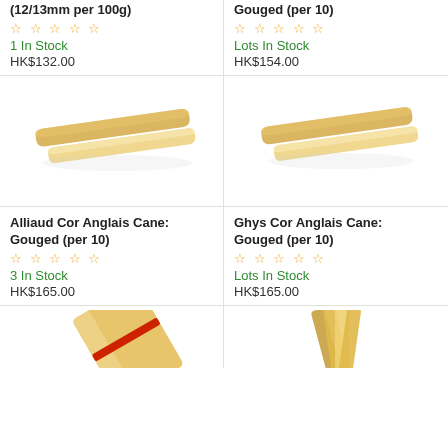(12/13mm per 100g)
★☆☆☆☆
1 In Stock
HK$132.00
Gouged (per 10)
★☆☆☆☆
Lots In Stock
HK$154.00
[Figure (photo): Two pale wooden reed cane sticks, one darker and one lighter, lying horizontally]
[Figure (photo): Two pale wooden reed cane sticks similar to the left product, lying horizontally]
Alliaud Cor Anglais Cane: Gouged (per 10)
★☆☆☆☆
3 In Stock
HK$165.00
Ghys Cor Anglais Cane: Gouged (per 10)
★☆☆☆☆
Lots In Stock
HK$165.00
[Figure (photo): Reed cane piece with red band/tie, partially visible at bottom of page]
[Figure (photo): Multiple cane sticks fanned out, partially visible at bottom of page]